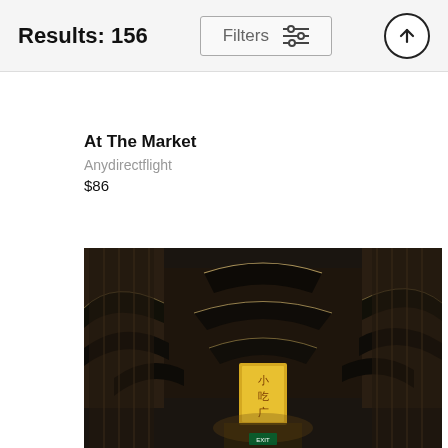Results: 156
Filters
At The Market
Anydirectflight
$86
[Figure (photo): Night view of a traditional Chinese market street with ornate pagoda-style rooftops, illuminated signs including a yellow banner with Chinese characters, and multi-story wooden architecture lining a narrow alley.]